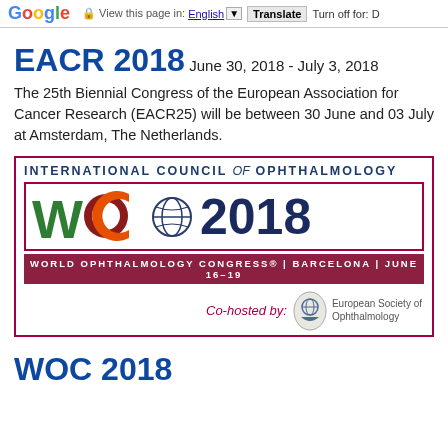Google  View this page in: English [▼]  Translate  Turn off for: D
EACR 2018
June 30, 2018 - July 3, 2018
The 25th Biennial Congress of the European Association for Cancer Research (EACR25) will be between 30 June and 03 July at Amsterdam, The Netherlands.
[Figure (logo): WOC 2018 banner: International Council of Ophthalmology, World Ophthalmology Congress, Barcelona, June 16-19, Co-hosted by European Society of Ophthalmology]
WOC 2018